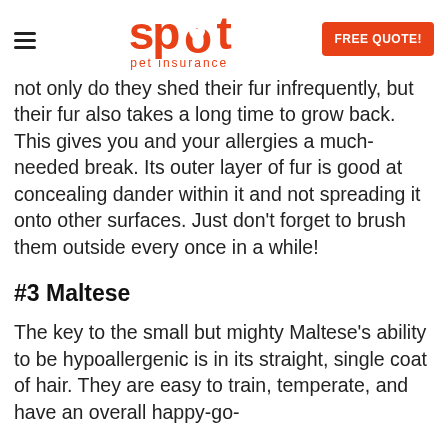spot pet insurance — FREE QUOTE!
not only do they shed their fur infrequently, but their fur also takes a long time to grow back. This gives you and your allergies a much-needed break. Its outer layer of fur is good at concealing dander within it and not spreading it onto other surfaces. Just don't forget to brush them outside every once in a while!
#3 Maltese
The key to the small but mighty Maltese's ability to be hypoallergenic is in its straight, single coat of hair. They are easy to train, temperate, and have an overall happy-go-